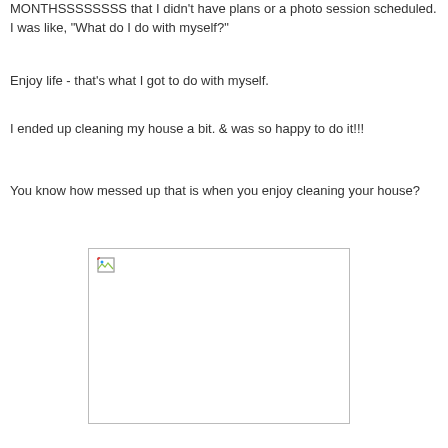MONTHSSSSSSSS that I didn't have plans or a photo session scheduled.  I was like, "What do I do with myself?"
Enjoy life - that's what I got to do with myself.
I ended up cleaning my house a bit.  & was so happy to do it!!!
You know how messed up that is when you enjoy cleaning your house?
[Figure (photo): Broken/missing image placeholder with small broken image icon in top-left corner]